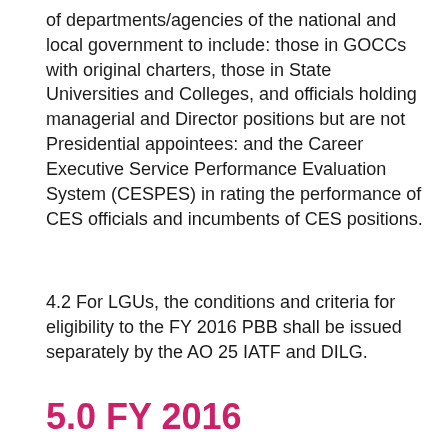of departments/agencies of the national and local government to include: those in GOCCs with original charters, those in State Universities and Colleges, and officials holding managerial and Director positions but are not Presidential appointees: and the Career Executive Service Performance Evaluation System (CESPES) in rating the performance of CES officials and incumbents of CES positions.
4.2 For LGUs, the conditions and criteria for eligibility to the FY 2016 PBB shall be issued separately by the AO 25 IATF and DILG.
5.0 FY 2016